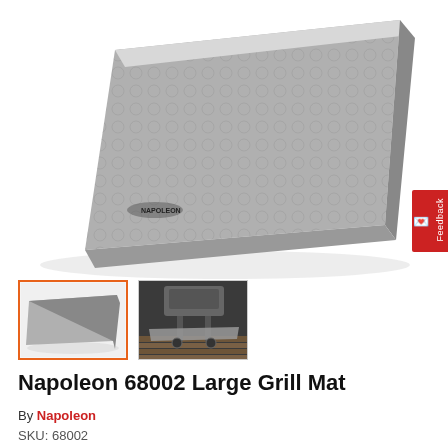[Figure (photo): Large gray Napoleon 68002 grill mat shown at an angle from above, with a textured grid/bubble pattern surface and the Napoleon logo visible in the lower left corner of the mat]
[Figure (photo): Thumbnail 1: Small gray Napoleon grill mat shown flat from slightly above]
[Figure (photo): Thumbnail 2: Napoleon grill mat shown in use outdoors, under a grill on a wooden deck]
Napoleon 68002 Large Grill Mat
By Napoleon
SKU: 68002